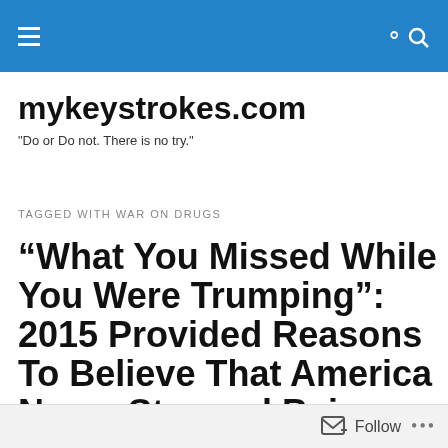mykeystrokes.com navigation bar
mykeystrokes.com
"Do or Do not. There is no try."
TAGGED WITH WAR ON DRUGS
“What You Missed While You Were Trumping”: 2015 Provided Reasons To Believe That America Never Stopped Being Great
Follow ...